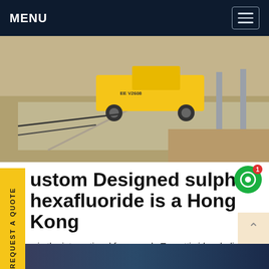MENU
[Figure (photo): Construction site photo showing yellow equipment vehicle on concrete/dirt ground with vertical poles in background]
Custom Designed sulphur hexafluoride is a Hong Kong
n in the international framework, Tazzetti vides dedicated products for devices designed h high technological content. Products Inertants phur hexafluoride (SF 6) Process agents anhydrous hydrochloric acid (HCl) Services On-site recovery andGet price